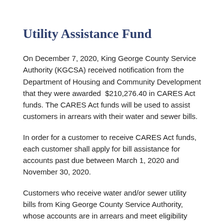Utility Assistance Fund
On December 7, 2020, King George County Service Authority (KGCSA) received notification from the Department of Housing and Community Development that they were awarded  $210,276.40 in CARES Act funds. The CARES Act funds will be used to assist customers in arrears with their water and sewer bills.
In order for a customer to receive CARES Act funds, each customer shall apply for bill assistance for accounts past due between March 1, 2020 and November 30, 2020.
Customers who receive water and/or sewer utility bills from King George County Service Authority, whose accounts are in arrears and meet eligibility criteria, shall submit an application for consideration. As part of the application